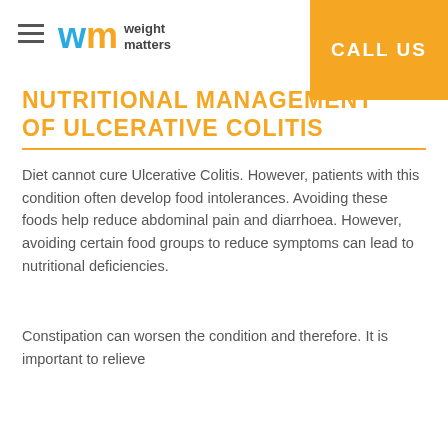weight matters | CALL US
NUTRITIONAL MANAGEMENT OF ULCERATIVE COLITIS
Diet cannot cure Ulcerative Colitis. However, patients with this condition often develop food intolerances. Avoiding these foods help reduce abdominal pain and diarrhoea. However, avoiding certain food groups to reduce symptoms can lead to nutritional deficiencies.
Constipation can worsen the condition and therefore. It is important to relieve